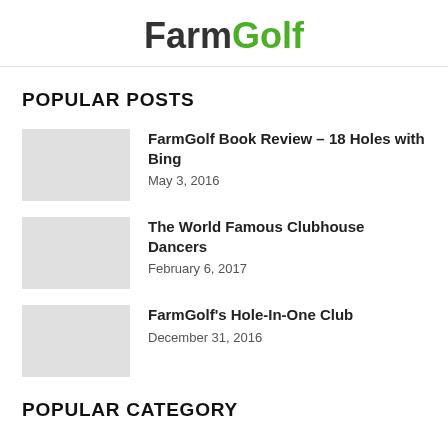FarmGolf
POPULAR POSTS
FarmGolf Book Review – 18 Holes with Bing
May 3, 2016
The World Famous Clubhouse Dancers
February 6, 2017
FarmGolf's Hole-In-One Club
December 31, 2016
POPULAR CATEGORY